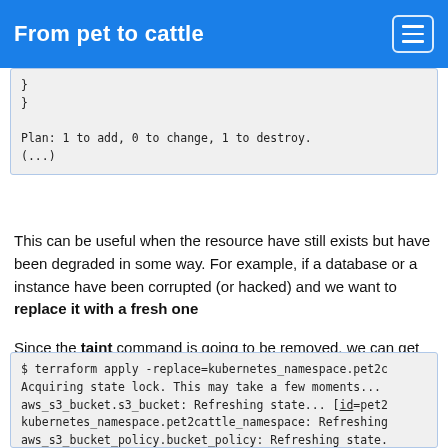From pet to cattle
}
    }

Plan: 1 to add, 0 to change, 1 to destroy.
(...)
This can be useful when the resource have still exists but have been degraded in some way. For example, if a database or a instance have been corrupted (or hacked) and we want to replace it with a fresh one
Since the taint command is going to be removed, we can get used to the -replace option on the plan and apply commands:
$ terraform apply -replace=kubernetes_namespace.pet2c
Acquiring state lock. This may take a few moments...
aws_s3_bucket.s3_bucket: Refreshing state... [id=pet2
kubernetes_namespace.pet2cattle_namespace: Refreshing
aws_s3_bucket_policy.bucket_policy: Refreshing state.